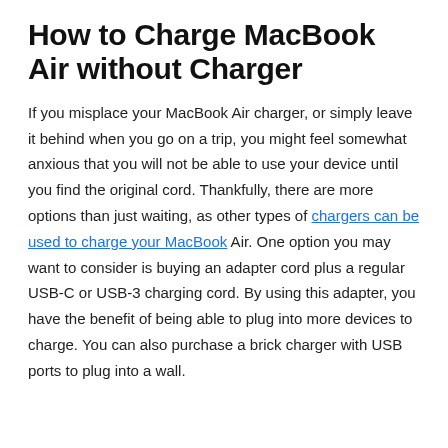How to Charge MacBook Air without Charger
If you misplace your MacBook Air charger, or simply leave it behind when you go on a trip, you might feel somewhat anxious that you will not be able to use your device until you find the original cord. Thankfully, there are more options than just waiting, as other types of chargers can be used to charge your MacBook Air. One option you may want to consider is buying an adapter cord plus a regular USB-C or USB-3 charging cord. By using this adapter, you have the benefit of being able to plug into more devices to charge. You can also purchase a brick charger with USB ports to plug into a wall.